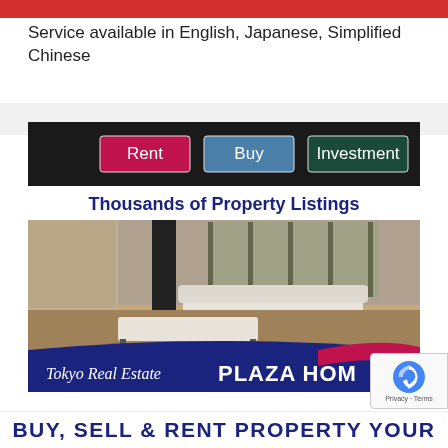[Figure (infographic): Red banner bar at the top of the page]
Service available in English, Japanese, Simplified Chinese
[Figure (infographic): Tokyo Real Estate PLAZA HOME advertisement image showing Rent, Buy, Investment buttons, 'Thousands of Property Listings' text, a luxury living room interior photo, and branding text at the bottom.]
BUY, SELL & RENT PROPERTY YOUR